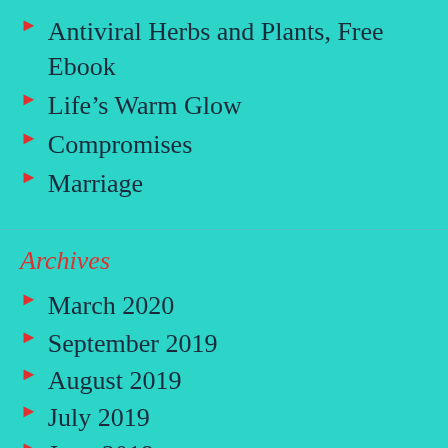Antiviral Herbs and Plants, Free Ebook
Life’s Warm Glow
Compromises
Marriage
Archives
March 2020
September 2019
August 2019
July 2019
June 2019
February 2019
November 2018
October 2018